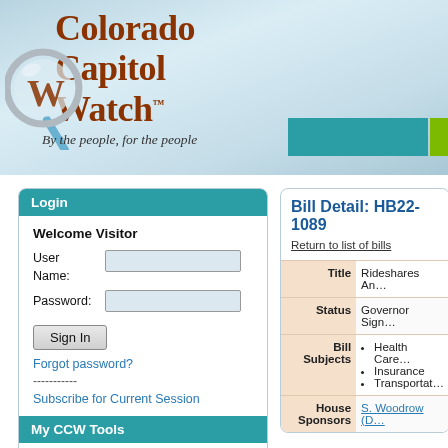[Figure (logo): Colorado Capitol Watch logo with magnifying glass and tagline 'By the people for the people']
Login
Welcome Visitor
User Name:
Password:
Sign In
Forgot password?
-----------
Subscribe for Current Session
My CCW Tools
Generate Reports
Bill Detail: HB22-1089
Return to list of bills
| Field | Value |
| --- | --- |
| Title | Rideshares An… |
| Status | Governor Sign… |
| Bill Subjects | Health Care
Insurance
Transportat… |
| House Sponsors | S. Woodrow (D… |